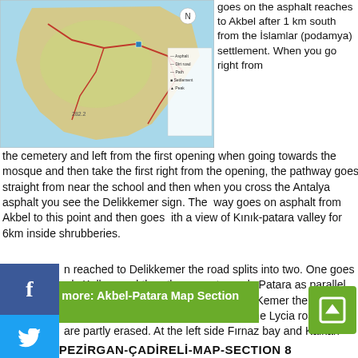[Figure (map): Map of the Akbel-Patara region showing topography, roads, and settlements along the Lycian coast in Turkey.]
goes on the asphalt reaches to Akbel after 1 km south from the İslamlar (podamya) settlement. When you go right from the cemetery and left from the first opening when going towards the mosque and then take the first right from the opening, the pathway goes straight from near the school and then when you cross the Antalya asphalt you see the Delikkemer sign. The way goes on asphalt from Akbel to this point and then goes with a view of Kınık-patara valley for 6km inside shrubberies.
n reached to Delikkemer the road splits into two. One goes rds Kalkan and the other goes towards Patara as parallel to the Delikkemer. When passing near Kemer the Patara table is shown. At the dirt road on left the Lycia road signs are partly erased. At the left side Fırnaz bay and Kalkan view can be seen. After going straight for 2-3 kilometers the road goes on in zigzags and reaches to Pınarkürü.
Read more: Akbel-Patara Map Section 7
KALKAN-PEZİRGAN-ÇADİRELİ-MAP-SECTION 8